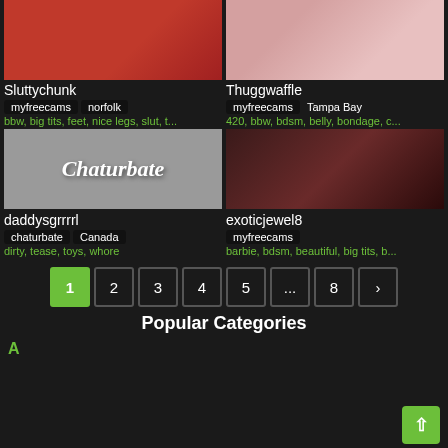[Figure (photo): Thumbnail image top-left (red/skin tones)]
Sluttychunk
myfreecams norfolk
bbw, big tits, feet, nice legs, slut, t...
[Figure (photo): Thumbnail image top-right (pink/skin tones)]
Thuggwaffle
myfreecams Tampa Bay
420, bbw, bdsm, belly, bondage, c...
[Figure (logo): Chaturbate logo placeholder (grey background)]
daddysgrrrrl
chaturbate Canada
dirty, tease, toys, whore
[Figure (photo): Thumbnail image bottom-right (fishnet/dark)]
exoticjewel8
myfreecams
barbie, bdsm, beautiful, big tits, b...
1 2 3 4 5 ... 8 >
Popular Categories
A